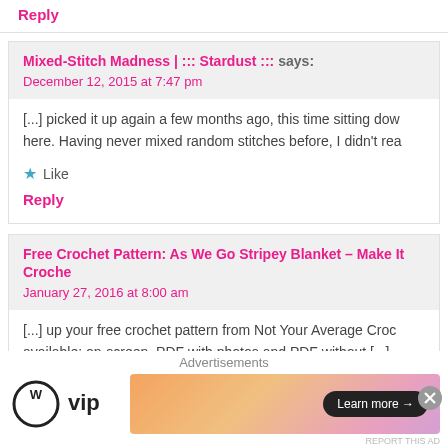Reply
Mixed-Stitch Madness | ::: Stardust ::: says:
December 12, 2015 at 7:47 pm
[...] picked it up again a few months ago, this time sitting dow here. Having never mixed random stitches before, I didn't rea
Like
Reply
Free Crochet Pattern: As We Go Stripey Blanket – Make It Croche
January 27, 2016 at 8:00 am
[...] up your free crochet pattern from Not Your Average Croc available: on-screen. PDF with photos and PDF without [...]
Advertisements
[Figure (logo): WordPress VIP logo — circle W icon with 'vip' text]
[Figure (illustration): Advertisement banner with orange-pink gradient and 'Learn more →' button]